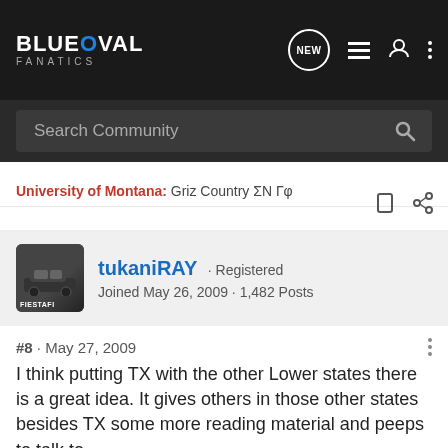BLUE OVAL FANATICS — navigation bar with search
University of Montana: Griz Country ΣN Γφ
tukaniRAY · Registered
Joined May 26, 2009 · 1,482 Posts
#8 · May 27, 2009
I think putting TX with the other Lower states there is a great idea. It gives others in those other states besides TX some more reading material and peeps to talk to.

-Ray-